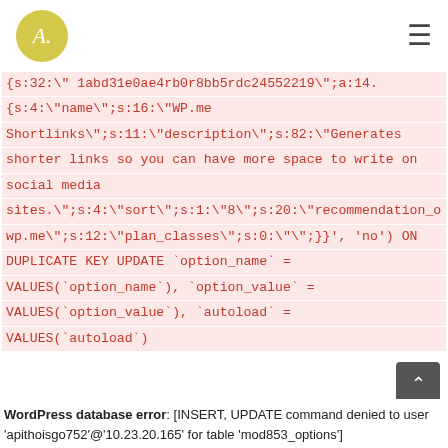A. [logo] [hamburger menu]
{s:32:\"1abd31e0ae4rb0r8bb5rdc24552219\";a:14: {s:4:\"name\";s:16:\"WP.me Shortlinks\";s:11:\"description\";s:82:\"Generates shorter links so you can have more space to write on social media sites.\";s:4:\"sort\";s:1:\"8\";s:20:\"recommendation_or wp.me\";s:12:\"plan_classes\";s:0:\"\";}}', 'no') ON DUPLICATE KEY UPDATE `option_name` = VALUES(`option_name`), `option_value` = VALUES(`option_value`), `autoload` = VALUES(`autoload`)
WordPress database error: [INSERT, UPDATE command denied to user 'apithoisgo752'@'10.23.20.165' for table 'mod853_options']